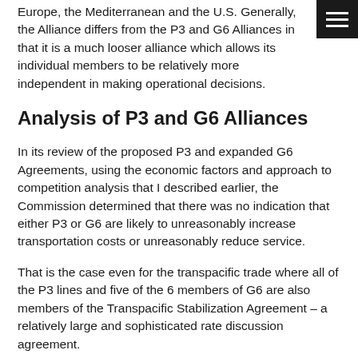Europe, the Mediterranean and the U.S. Generally, the Alliance differs from the P3 and G6 Alliances in that it is a much looser alliance which allows its individual members to be relatively more independent in making operational decisions.
Analysis of P3 and G6 Alliances
In its review of the proposed P3 and expanded G6 Agreements, using the economic factors and approach to competition analysis that I described earlier, the Commission determined that there was no indication that either P3 or G6 are likely to unreasonably increase transportation costs or unreasonably reduce service.
That is the case even for the transpacific trade where all of the P3 lines and five of the 6 members of G6 are also members of the Transpacific Stabilization Agreement – a relatively large and sophisticated rate discussion agreement.